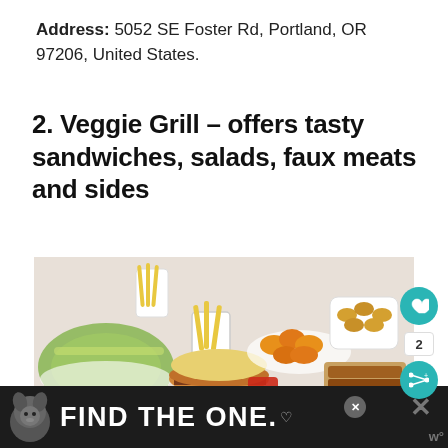Address: 5052 SE Foster Rd, Portland, OR 97206, United States.
2. Veggie Grill – offers tasty sandwiches, salads, faux meats and sides
[Figure (photo): Food spread photo showing burgers, fries, salad, tater tots, and other dishes from Veggie Grill, with a heart button and share button on the right side.]
FIND THE ONE. [advertisement banner with dog image]